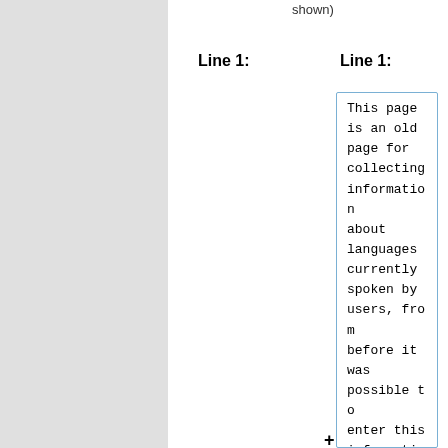shown)
Line 1:
Line 1:
This page is an old page for collecting information about languages currently spoken by users, from before it was possible to enter this information in [[mb:account/edit|your user